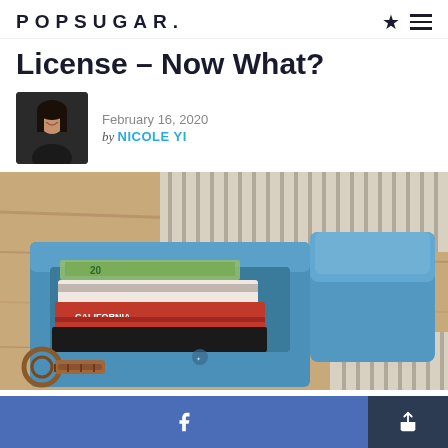POPSUGAR.
License – Now What?
February 16, 2020
by NICOLE YI
[Figure (photo): A blue leather wallet open on a wooden surface, showing a California ID card, credit cards, and dollar bills tucked inside the card slots. A brown leather keychain lies nearby on a striped mat.]
f  [share icon]